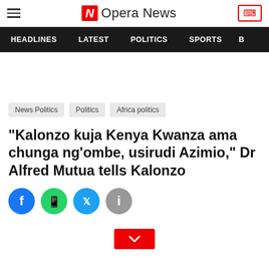Opera News
HEADLINES  LATEST  POLITICS  SPORTS
News Politics  Politics  Africa politics
"Kalonzo kuja Kenya Kwanza ama chunga ng'ombe, usirudi Azimio," Dr Alfred Mutua tells Kalonzo
[Figure (other): Social sharing icons: Facebook, WhatsApp, Twitter, Info]